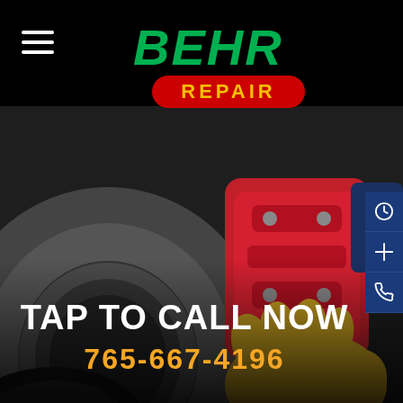[Figure (logo): Behr Repair logo — 'BEHR' in green italic script above a red oval badge with 'REPAIR' in yellow bold caps]
[Figure (photo): Close-up photo of automotive brake components — red brake caliper, brake disc, and mechanic's gloved hand working on a wheel assembly]
TAP TO CALL NOW
765-667-4196